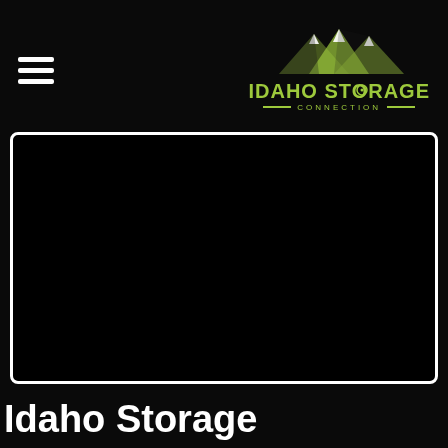Idaho Storage Connection
[Figure (screenshot): Black video embed area with white rounded border on dark background]
Idaho Storage